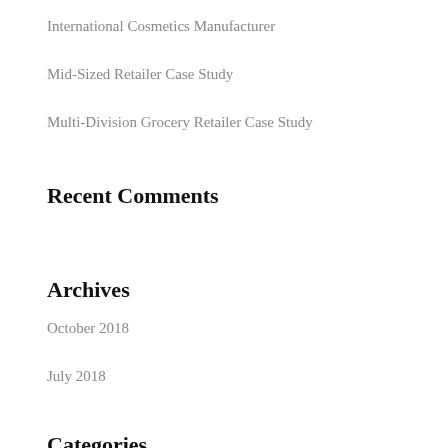International Cosmetics Manufacturer
Mid-Sized Retailer Case Study
Multi-Division Grocery Retailer Case Study
Recent Comments
Archives
October 2018
July 2018
Categories
AP Audit Case Studies
Example Settlements
Utility Audit Case Studies
Meta